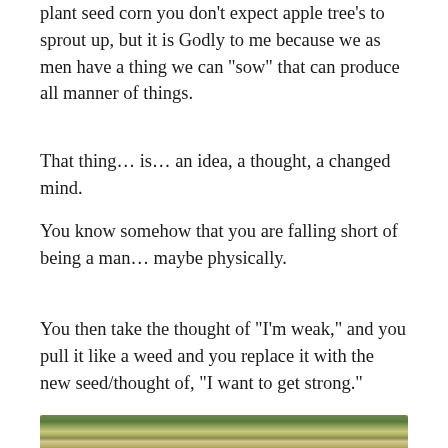plant seed corn you don't expect apple tree's to sprout up, but it is Godly to me because we as men have a thing we can “sow” that can produce all manner of things.
That thing… is… an idea, a thought, a changed mind.
You know somehow that you are falling short of being a man… maybe physically.
You then take the thought of “I’m weak,” and you pull it like a weed and you replace it with the new seed/thought of, “I want to get strong.”
[Figure (photo): Bottom portion of a photo showing what appears to be a bowl of food with green leafy vegetables and a yellow lemon or citrus fruit in the background.]